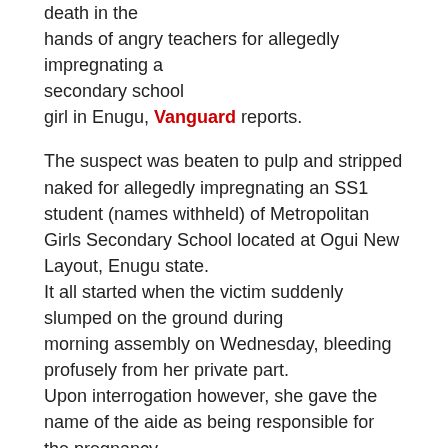death in the hands of angry teachers for allegedly impregnating a secondary school girl in Enugu, Vanguard reports.

The suspect was beaten to pulp and stripped naked for allegedly impregnating an SS1 student (names withheld) of Metropolitan Girls Secondary School located at Ogui New Layout, Enugu state. It all started when the victim suddenly slumped on the ground during morning assembly on Wednesday, bleeding profusely from her private part. Upon interrogation however, she gave the name of the aide as being responsible for the pregnancy. The man was lured to the school and he came not knowing that his dirty deed had been discovered. When he got to the school, the teachers pounced on him and beat him mercilessly before handing him over to officials of National Agency for Prohibition of Trafficking in Persons, NAPTIP, and Nigerian Security and Civil Defence Corps, NSCDC. State Commissioner for Education, Professor Uche Okolo confirmed the